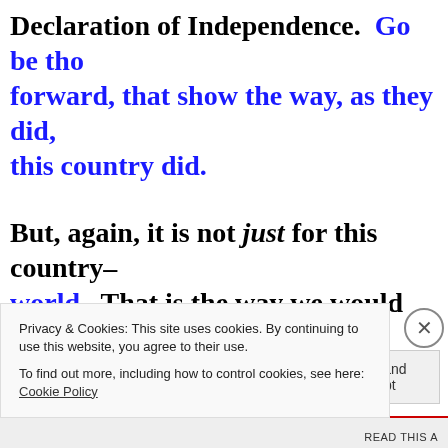Declaration of Independence.  Go be those that show the way forward, that show the way, as they did, this country did.
But, again, it is not just for this country— world.  That is the way we would like you continue to move through your daily every time you go against the establishment
Privacy & Cookies: This site uses cookies. By continuing to use this website, you agree to their use.
To find out more, including how to control cookies, see here: Cookie Policy
Close and accept